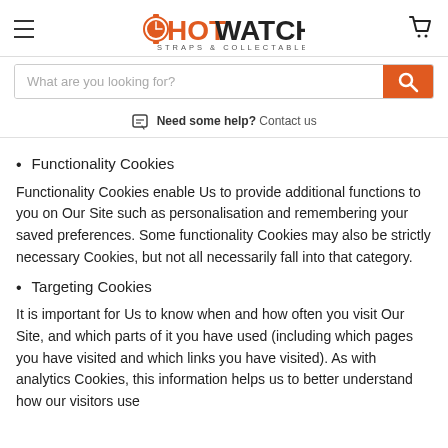HOT WATCHES STRAPS & COLLECTABLES
What are you looking for?
Need some help? Contact us
Functionality Cookies
Functionality Cookies enable Us to provide additional functions to you on Our Site such as personalisation and remembering your saved preferences. Some functionality Cookies may also be strictly necessary Cookies, but not all necessarily fall into that category.
Targeting Cookies
It is important for Us to know when and how often you visit Our Site, and which parts of it you have used (including which pages you have visited and which links you have visited). As with analytics Cookies, this information helps us to better understand how our visitors use